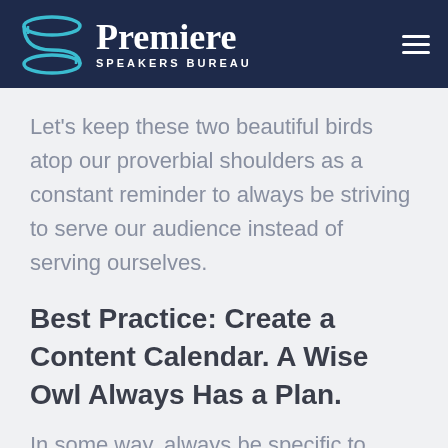[Figure (logo): Premiere Speakers Bureau logo with teal S-shaped ribbon graphic and white wordmark on dark navy background]
Let's keep these two beautiful birds atop our proverbial shoulders as a constant reminder to always be striving to serve our audience instead of serving ourselves.
Best Practice: Create a Content Calendar. A Wise Owl Always Has a Plan.
In some way, always be specific to...